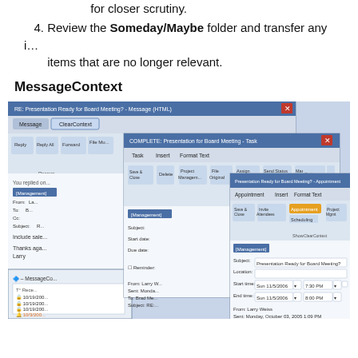for closer scrutiny.
4. Review the Someday/Maybe folder and transfer any items that are no longer relevant.
MessageContext
[Figure (screenshot): Screenshot of Microsoft Outlook email client with ClearContext add-in showing three layered windows: an email message window (RE: Presentation Ready for Board Meeting? - Message HTML), a task window (COMPLETE: Presentation for Board Meeting - Task), and an appointment window (Presentation Ready for Board Meeting? - Appointment) with various toolbar options including Task, Schedule, Delete, File Move, Project Management, Save & Close, Invite Attendees, Appointment, Scheduling, and details showing start time Sun 11/5/2006 7:30 PM, end time Sun 11/5/2006 8:00 PM, From: Larry Weiss, Sent: Monday, October 03, 2005 1:09 PM, To: meadorbrd]